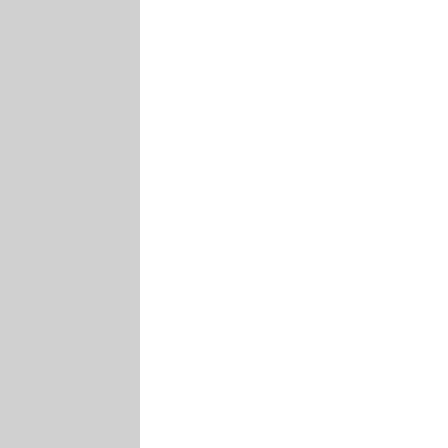then when has a liberal / commun ever worried about doing somethi unethica At one time the informa revealin all of his shell compan and the amount of carbon credits he controlle